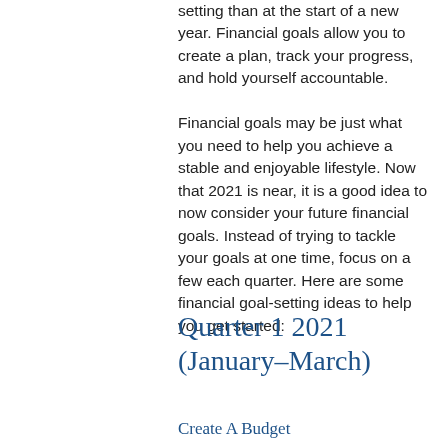setting than at the start of a new year. Financial goals allow you to create a plan, track your progress, and hold yourself accountable. Financial goals may be just what you need to help you achieve a stable and enjoyable lifestyle. Now that 2021 is near, it is a good idea to now consider your future financial goals. Instead of trying to tackle your goals at one time, focus on a few each quarter. Here are some financial goal-setting ideas to help you get started:
Quarter 1 2021 (January–March)
Create A Budget